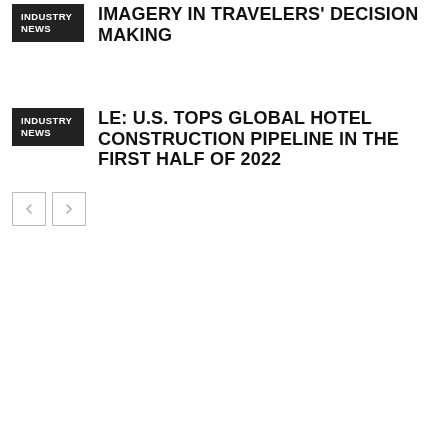INDUSTRY NEWS
IMAGERY IN TRAVELERS' DECISION MAKING
INDUSTRY NEWS
LE: U.S. TOPS GLOBAL HOTEL CONSTRUCTION PIPELINE IN THE FIRST HALF OF 2022
[Figure (other): Navigation previous and next buttons]